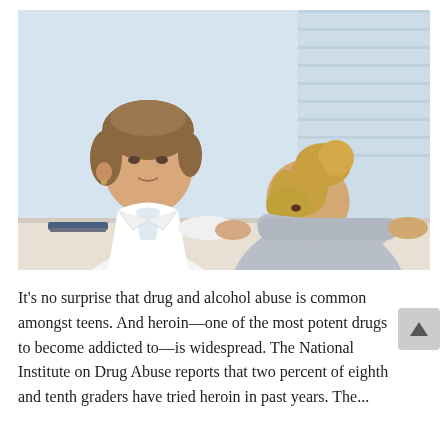[Figure (photo): A physician or counselor in a white coat sits across a table from a distressed teenage girl with blonde hair in a bun, who has her head down resting on her arm. The counselor looks at the teen with concern and places a hand on her arm. Clinical/office setting with light blue background.]
It's no surprise that drug and alcohol abuse is common amongst teens. And heroin—one of the most potent drugs to become addicted to—is widespread. The National Institute on Drug Abuse reports that two percent of eighth and tenth graders have tried heroin in past years. The...